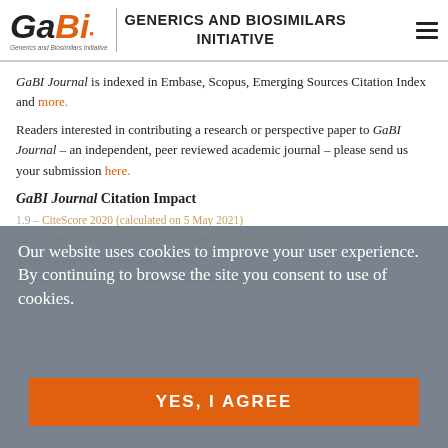GENERICS AND BIOSIMILARS INITIATIVE
GaBI Journal is indexed in Embase, Scopus, Emerging Sources Citation Index and more.
Readers interested in contributing a research or perspective paper to GaBI Journal – an independent, peer reviewed academic journal – please send us your submission here.
GaBI Journal Citation Impact
1.9 – CiteScore 2020 (calculated on 5 May 2021)
2.2 – CiteScoreTracker 2021 (Last updated on 7 February 2022)
Submit a manuscript to GaBI Journal
Our website uses cookies to improve your user experience. By continuing to browse the site you consent to use of cookies.
YES, I AGREE
Real-world safety data for enercin alfa biosimilar